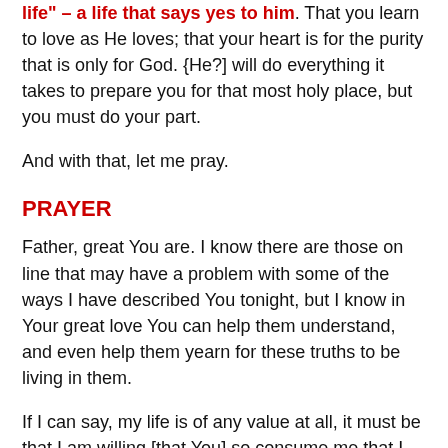life" – a life that says yes to him. That you learn to love as He loves; that your heart is for the purity that is only for God. {He?] will do everything it takes to prepare you for that most holy place, but you must do your part.
And with that, let me pray.
PRAYER
Father, great You are. I know there are those on line that may have a problem with some of the ways I have described You tonight, but I know in Your great love You can help them understand, and even help them yearn for these truths to be living in them.
If I can say, my life is of any value at all, it must be that I am willing [that You] so consume me that I can point the way to our Lord Jesus Christ, to be consumed by Him, and to the eternal offering of Christ's love. And I pray that will be